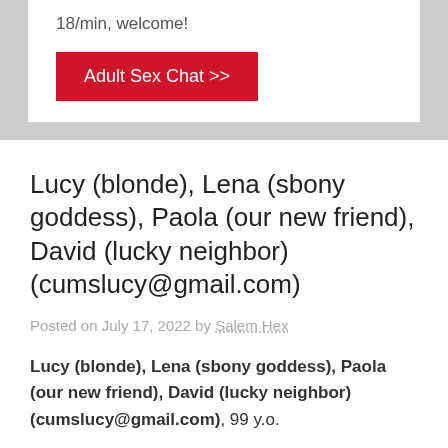18/min, welcome!
Adult Sex Chat >>
Lucy (blonde), Lena (sbony goddess), Paola (our new friend), David (lucky neighbor) (cumslucy@gmail.com)
Posted on July 17, 2022 by Salem Hex
Lucy (blonde), Lena (sbony goddess), Paola (our new friend), David (lucky neighbor) (cumslucy@gmail.com), 99 y.o.
Location: Cum City